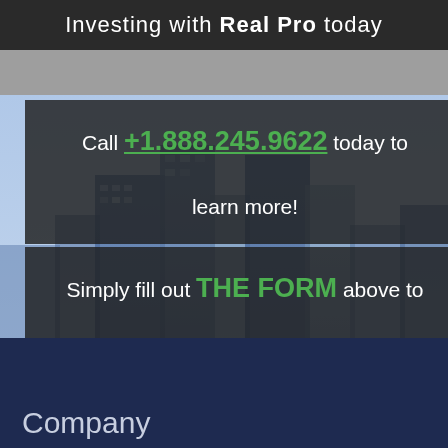Investing with Real Pro today
Call +1.888.245.9622 today to learn more!
Simply fill out THE FORM above to get started!
[Figure (photo): Aerial view of a city skyline with tall skyscrapers and buildings]
Company